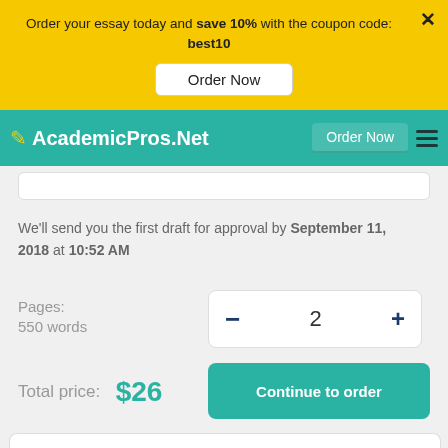Order your essay today and save 10% with the coupon code: best10
Order Now
[Figure (screenshot): AcademicPros.Net teal navigation bar with logo, Order Now button, and hamburger menu]
We'll send you the first draft for approval by September 11, 2018 at 10:52 AM
Pages:
550 words
− 2 +
Total price: $26
Continue to order